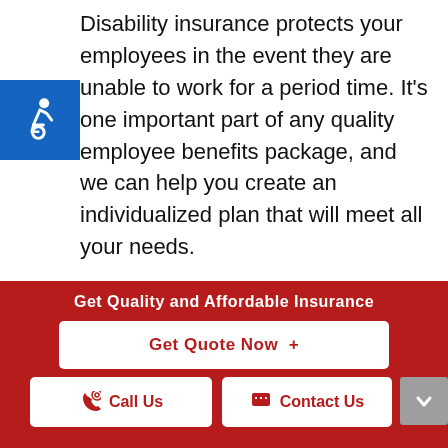Disability insurance protects your employees in the event they are unable to work for a period time. It's one important part of any quality employee benefits package, and we can help you create an individualized plan that will meet all your needs.
Read Further
Get Quality and Affordable Insurance
Get Quote Now  +
Call Us
Contact Us